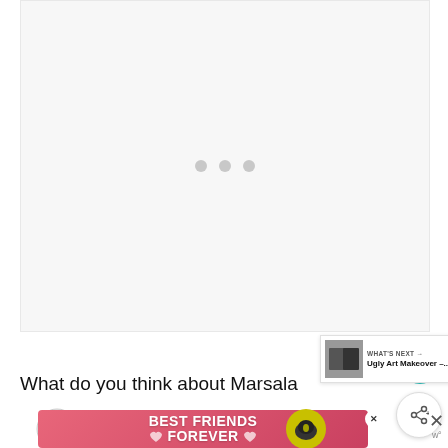[Figure (other): Loading placeholder area with light gray background and three gray dots centered]
[Figure (other): Teal heart/favorite button (circular)]
[Figure (other): White share button (circular) with share icon]
[Figure (other): What's Next panel showing thumbnail of 'Ugly Art Makeover' with arrow]
What do you think about Marsala
[Figure (other): Advertisement banner: BEST FRIENDS FOREVER with cat images on pink/red background, close button and Woo logo]